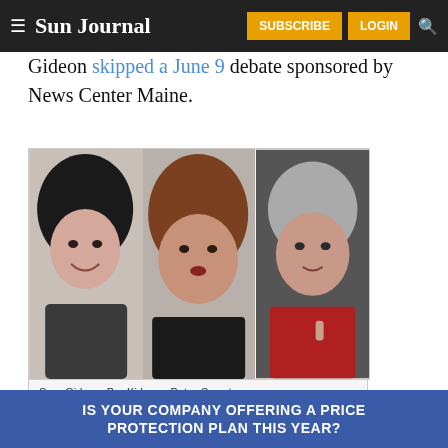≡ Sun Journal   SUBSCRIBE   LOGIN   🔍
Gideon skipped a June 9 debate sponsored by News Center Maine.
[Figure (photo): Composite portrait photo of three women: Sara Gideon (left, dark hair, smiling), Bre Kidman (center, auburn hair), Betsy Sweet (right, gray hair, in red jacket)]
Sara Gideon, Bre Kidman, Betsy Sweet
For the most part, the candidates avoided political
[Figure (infographic): Ad banner: IS YOUR COMPANY OFFERING A PRICE PROTECTION PLAN THIS YEAR?]